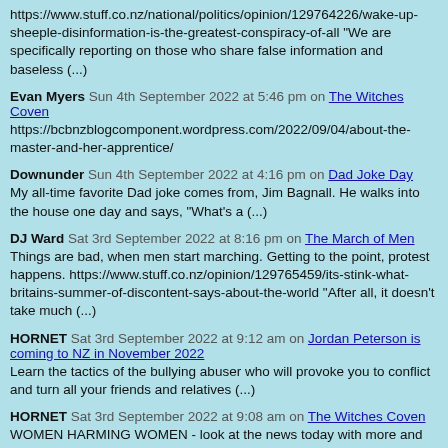https://www.stuff.co.nz/national/politics/opinion/129764226/wake-up-sheeple-disinformation-is-the-greatest-conspiracy-of-all "We are specifically reporting on those who share false information and baseless (...)
Evan Myers Sun 4th September 2022 at 5:46 pm on The Witches Coven
https://bcbnzblogcomponent.wordpress.com/2022/09/04/about-the-master-and-her-apprentice/
Downunder Sun 4th September 2022 at 4:16 pm on Dad Joke Day
My all-time favorite Dad joke comes from, Jim Bagnall. He walks into the house one day and says, "What's a (...)
DJ Ward Sat 3rd September 2022 at 8:16 pm on The March of Men
Things are bad, when men start marching. Getting to the point, protest happens. https://www.stuff.co.nz/opinion/129765459/its-stink-what-britains-summer-of-discontent-says-about-the-world "After all, it doesn't take much (...)
HORNET Sat 3rd September 2022 at 9:12 am on Jordan Peterson is coming to NZ in November 2022
Learn the tactics of the bullying abuser who will provoke you to conflict and turn all your friends and relatives (...)
HORNET Sat 3rd September 2022 at 9:08 am on The Witches Coven
WOMEN HARMING WOMEN - look at the news today with more and stories coming to light of women harming others. (...)